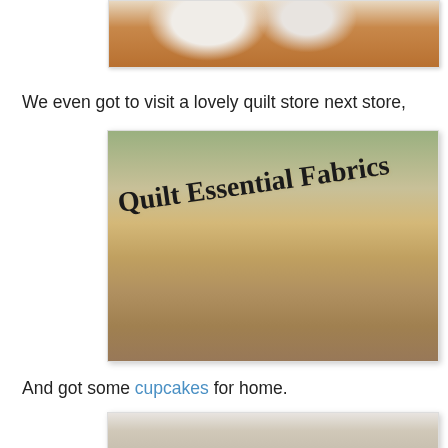[Figure (photo): Partial photo showing white ceramic or porcelain objects on a wooden table surface, cropped at top of page]
We even got to visit a lovely quilt store next store,
[Figure (photo): Photo of the exterior storefront sign reading 'Quilt Essential Fabrics' in decorative serif font on a light-colored awning/facade, with brick building visible above]
And got some cupcakes for home.
[Figure (photo): Partial photo at bottom of page showing what appears to be cupcakes or baked goods, cropped]